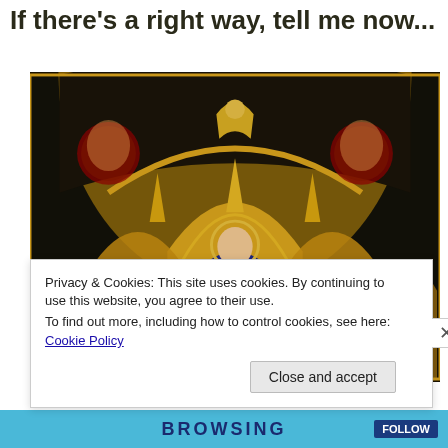If there's a right way, tell me now...
[Figure (illustration): Medieval altarpiece painting showing Madonna and Child in center with saints on either side, Gothic arched framework, gold background, dark border]
Privacy & Cookies: This site uses cookies. By continuing to use this website, you agree to their use.
To find out more, including how to control cookies, see here: Cookie Policy
Close and accept
BROWSING